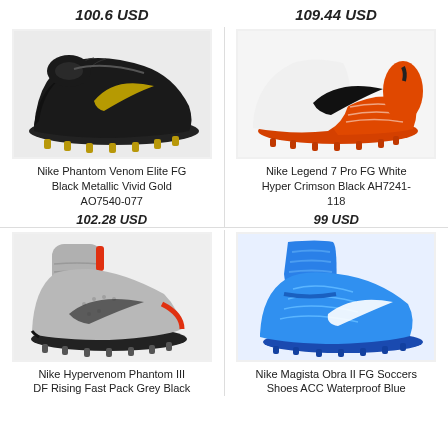100.6 USD
109.44 USD
[Figure (photo): Nike Phantom Venom Elite FG Black Metallic Vivid Gold soccer cleat, black with gold swoosh, on white/grey background]
[Figure (photo): Nike Legend 7 Pro FG White Hyper Crimson Black soccer cleat, white and orange with black swoosh, on white background]
Nike Phantom Venom Elite FG Black Metallic Vivid Gold AO7540-077
102.28 USD
Nike Legend 7 Pro FG White Hyper Crimson Black AH7241-118
99 USD
[Figure (photo): Nike Hypervenom Phantom III DF Rising Fast Pack Grey Black soccer cleat, grey with orange accents, high-top sock style]
[Figure (photo): Nike Magista Obra II FG Soccers Shoes ACC Waterproof Blue soccer cleat, bright blue high-top with white swoosh]
Nike Hypervenom Phantom III DF Rising Fast Pack Grey Black
Nike Magista Obra II FG Soccers Shoes ACC Waterproof Blue